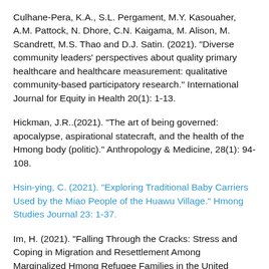Culhane-Pera, K.A., S.L. Pergament, M.Y. Kasouaher, A.M. Pattock, N. Dhore, C.N. Kaigama, M. Alison, M. Scandrett, M.S. Thao and D.J. Satin. (2021). "Diverse community leaders' perspectives about quality primary healthcare and healthcare measurement: qualitative community-based participatory research." International Journal for Equity in Health 20(1): 1-13.
Hickman, J.R..(2021). "The art of being governed: apocalypse, aspirational statecraft, and the health of the Hmong body (politic)." Anthropology & Medicine, 28(1): 94-108.
Hsin-ying, C. (2021). "Exploring Traditional Baby Carriers Used by the Miao People of the Huawu Village." Hmong Studies Journal 23: 1-37.
Im, H. (2021). "Falling Through the Cracks: Stress and Coping in Migration and Resettlement Among Marginalized Hmong Refugee Families in the United States." Families in Society: The Journal of Contemporary Social Services 102(1) 50–66.
Ito, R. (2021). "Not a white girl and speaking English with slang: